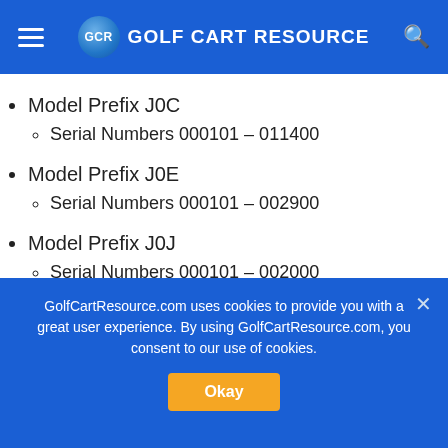GCR GOLF CART RESOURCE
Model Prefix J0C
  Serial Numbers 000101 – 011400
Model Prefix J0E
  Serial Numbers 000101 – 002900
Model Prefix J0J
  Serial Numbers 000101 – 002000
Adventurer Model YTE1A (Gas)
GolfCartResource.com uses cookies to provide you with a great user experience. By using GolfCartResource.com, you consent to our use of cookies.